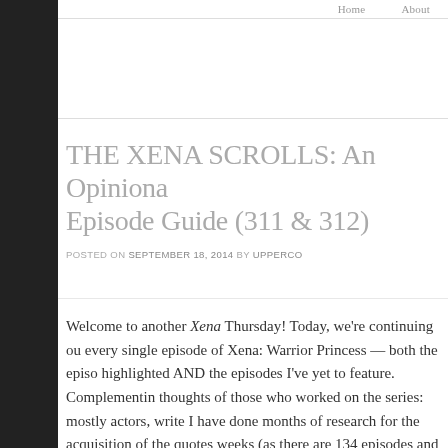Home   About
THE XENA SCROLLS: An Opinionated Episode Guide (311 & 312)
POSTED ON SEPTEMBER 18, 2014 BY UPPERCO
Welcome to another Xena Thursday! Today, we're continuing ou every single episode of Xena: Warrior Princess — both the episo highlighted AND the episodes I've yet to feature. Complementin thoughts of those who worked on the series: mostly actors, write I have done months of research for the acquisition of the quotes weeks (as there are 134 episodes and I'll be covering two episod from a variety of sources, including the original special feature-l Chakram Official Newsletters, both the Topps and Titans Officia kits, and other assorted print and video interviews. So in additio